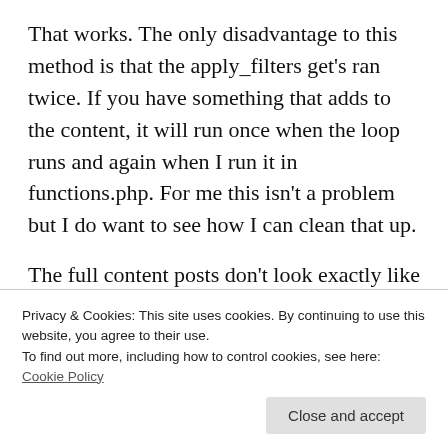That works. The only disadvantage to this method is that the apply_filters get's ran twice. If you have something that adds to the content, it will run once when the loop runs and again when I run it in functions.php. For me this isn't a problem but I do want to see how I can clean that up.
The full content posts don't look exactly like they do as a single post but I'm satisfied for now and
Privacy & Cookies: This site uses cookies. By continuing to use this website, you agree to their use.
To find out more, including how to control cookies, see here: Cookie Policy
Close and accept